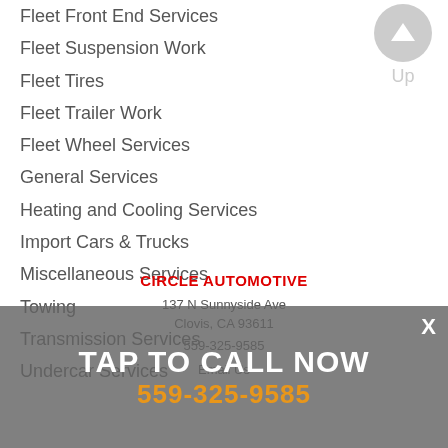Fleet Front End Services
Fleet Suspension Work
Fleet Tires
Fleet Trailer Work
Fleet Wheel Services
General Services
Heating and Cooling Services
Import Cars & Trucks
Miscellaneous Services
Towing
Transmission Services
Undercar Services
CIRCLE AUTOMOTIVE
137 N Sunnyside Ave
Clovis, CA 93611
559-325-9585
Email Us
TAP TO CALL NOW
559-325-9585